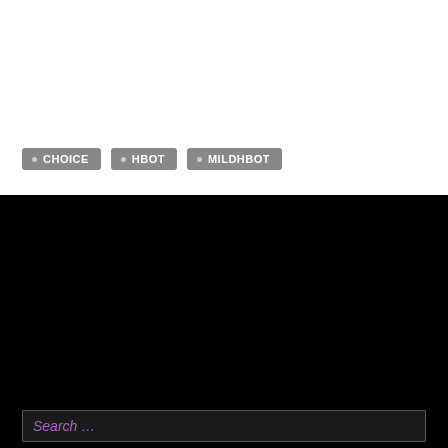CHOICE
HBOT
MILDHBOT
RECENT POSTS
The science behind hyperbaric oxygen therapy
A brief history of hyperbaric oxygen therapy
It's business as usual at Wesley Hyperbaric
When it comes to hyperbaric oxygen therapy there really is only one choice.